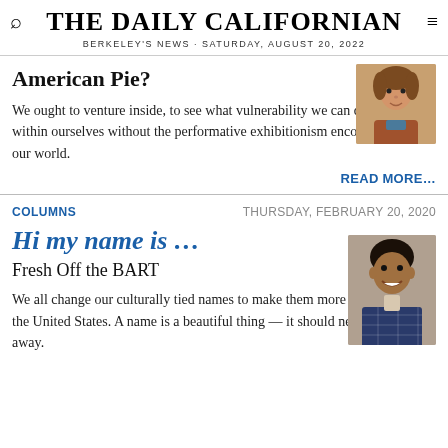THE DAILY CALIFORNIAN · BERKELEY'S NEWS · SATURDAY, AUGUST 20, 2022
American Pie?
We ought to venture inside, to see what vulnerability we can discover within ourselves without the performative exhibitionism encouraged by our world.
READ MORE…
COLUMNS    THURSDAY, FEBRUARY 20, 2020
Hi my name is …
Fresh Off the BART
We all change our culturally tied names to make them more palatable for the United States. A name is a beautiful thing — it should never be thrown away.